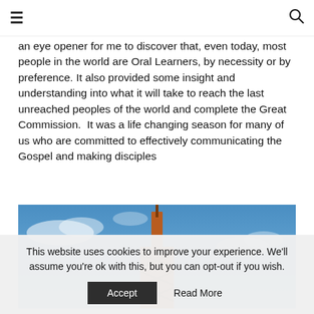≡  🔍
an eye opener for me to discover that, even today, most people in the world are Oral Learners, by necessity or by preference. It also provided some insight and understanding into what it will take to reach the last unreached peoples of the world and complete the Great Commission.  It was a life changing season for many of us who are committed to effectively communicating the Gospel and making disciples
[Figure (photo): A tall red/orange lattice radio or communication tower against a blue sky with white clouds.]
This website uses cookies to improve your experience. We'll assume you're ok with this, but you can opt-out if you wish. Accept  Read More